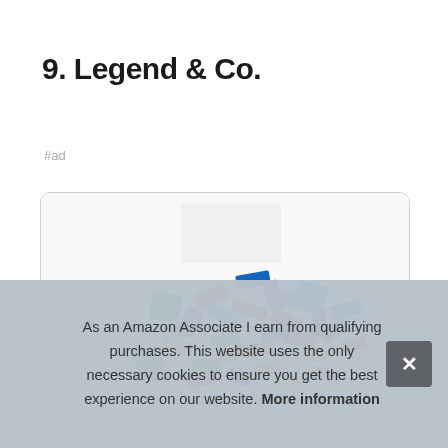9. Legend & Co.
#ad
[Figure (photo): A pile of colorful confetti pieces in red, green, blue, yellow, orange, and purple scattered on a white background.]
As an Amazon Associate I earn from qualifying purchases. This website uses the only necessary cookies to ensure you get the best experience on our website. More information